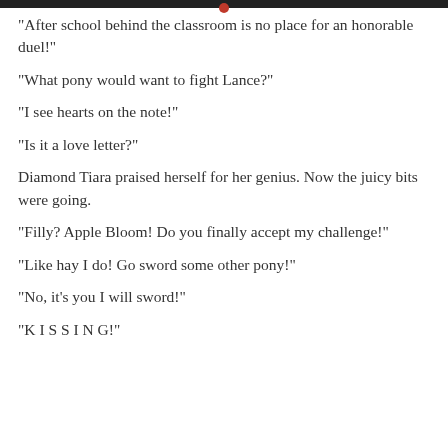"After school behind the classroom is no place for an honorable duel!"
"What pony would want to fight Lance?"
"I see hearts on the note!"
"Is it a love letter?"
Diamond Tiara praised herself for her genius. Now the juicy bits were going.
"Filly? Apple Bloom! Do you finally accept my challenge!"
"Like hay I do! Go sword some other pony!"
"No, it's you I will sword!"
"K I S S I N G!"